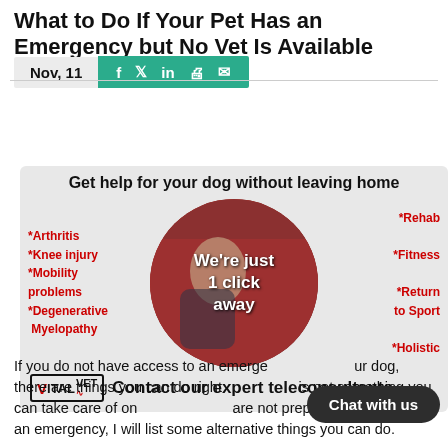What to Do If Your Pet Has an Emergency but No Vet Is Available
Nov, 11
[Figure (infographic): Vital Vet advertisement banner: Get help for your dog without leaving home. Shows a woman with a dog. Left side lists: *Arthritis, *Knee injury, *Mobility problems, *Degenerative Myelopathy. Right side: *Rehab, *Fitness, *Return to Sport, *Holistic. Center circle text: We're just 1 click away. Footer: Vital Vet logo - Contact our expert teleconsultants]
If you do not have access to an emergency vet for your dog, there are things you can do right now. If this is not something you can take care of on your own, and are not prepared to deal with an emergency, I will list some alternative things you can do.